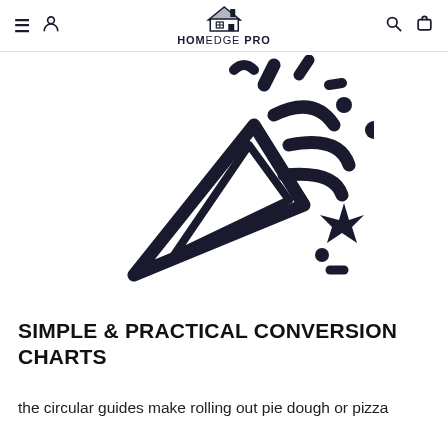HOMEDGE PRO
[Figure (illustration): Party popper / celebration icon in dark navy, showing a triangular party horn with confetti streamers, lines, a star and dots shooting out]
SIMPLE & PRACTICAL CONVERSION CHARTS
the circular guides make rolling out pie dough or pizza